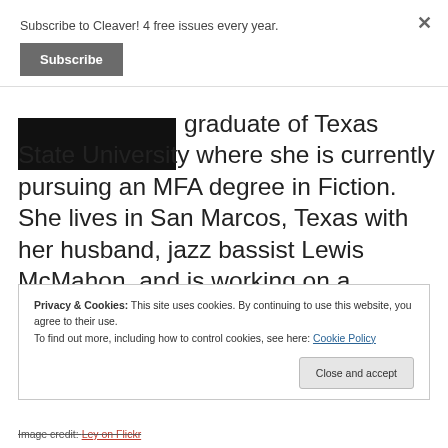Subscribe to Cleaver! 4 free issues every year.
Subscribe
graduate of Texas State University where she is currently pursuing an MFA degree in Fiction. She lives in San Marcos, Texas with her husband, jazz bassist Lewis McMahon, and is working on a collection of short stories.
Privacy & Cookies: This site uses cookies. By continuing to use this website, you agree to their use.
To find out more, including how to control cookies, see here: Cookie Policy
Close and accept
Image credit: Ley on Flickr